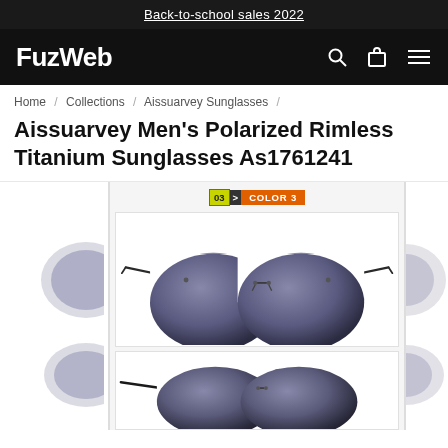Back-to-school sales 2022
FuzWeb
Home / Collections / Aissuarvey Sunglasses /
Aissuarvey Men's Polarized Rimless Titanium Sunglasses As1761241
[Figure (photo): Product image carousel showing Aissuarvey Men's Polarized Rimless Titanium Sunglasses, color labeled '03> COLOR 3'. Main image shows front view of rimless aviator sunglasses with dark gradient lenses and thin metal bridge. Bottom image shows a side/angle view of the same sunglasses. Partial images visible on left and right sides.]